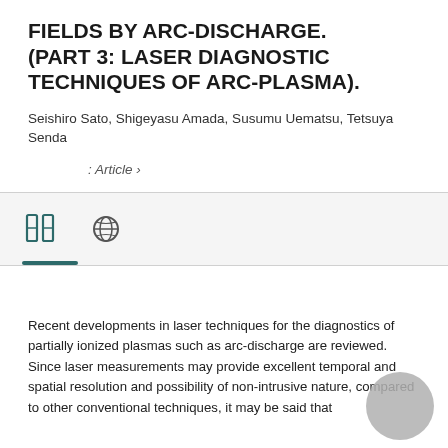FIELDS BY ARC-DISCHARGE. (PART 3: LASER DIAGNOSTIC TECHNIQUES OF ARC-PLASMA).
Seishiro Sato, Shigeyasu Amada, Susumu Uematsu, Tetsuya Senda
: Article ›
[Figure (other): Tab bar with two icons: an open book icon and a circular/globe icon, with a teal underline bar beneath the first icon.]
Recent developments in laser techniques for the diagnostics of partially ionized plasmas such as arc-discharge are reviewed. Since laser measurements may provide excellent temporal and spatial resolution and possibility of non-intrusive nature, compared to other conventional techniques, it may be said that